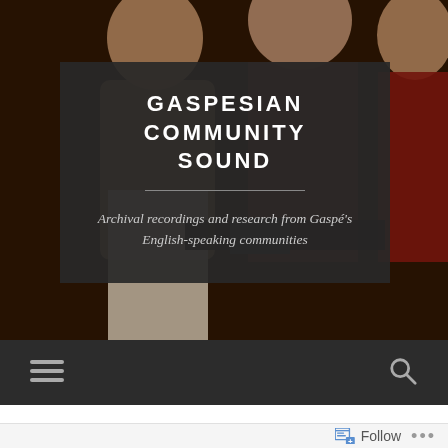[Figure (photo): Black and white/sepia toned archival photograph of people, showing faces and upper bodies of multiple individuals in a casual social setting]
GASPESIAN COMMUNITY SOUND
Archival recordings and research from Gaspé's English-speaking communities
[Figure (infographic): Website navigation bar with dark background showing hamburger menu icon on the left and search icon on the right]
[Figure (infographic): Wordpress Follow button bar at bottom with follow icon and ellipsis dots]